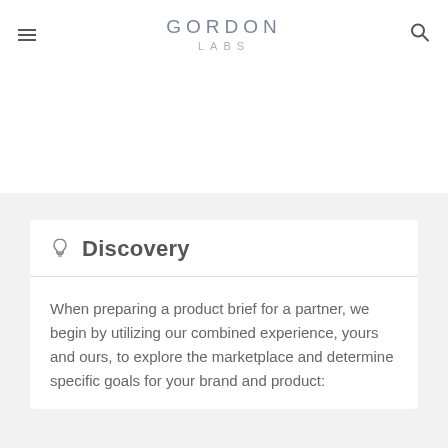GORDON LABS
Discovery
When preparing a product brief for a partner, we begin by utilizing our combined experience, yours and ours, to explore the marketplace and determine specific goals for your brand and product: